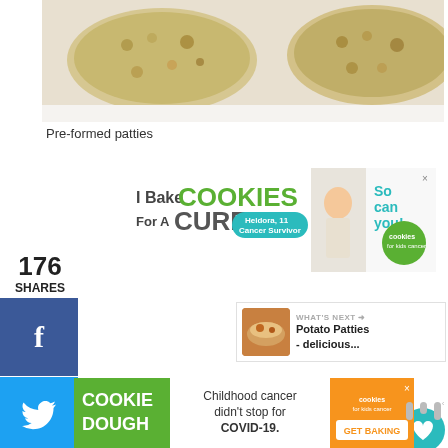[Figure (photo): Close-up photo of pre-formed potato patties on a white surface]
Pre-formed patties
[Figure (infographic): Advertisement banner: I Bake COOKIES For A CURE - Heldora, 11 Cancer Survivor - So can you! Cookies for Kids Cancer]
176
SHARES
[Figure (infographic): Social share buttons: Facebook (blue), Twitter (blue), Pinterest (red), Mix (orange)]
[Figure (infographic): Heart icon button with count 180 and share icon]
[Figure (infographic): What's Next card: Potato Patties - delicious...]
[Figure (infographic): Bottom advertisement: COOKIE DOUGH - Childhood cancer didn't stop for COVID-19. Cookies for kids cancer - GET BAKING]